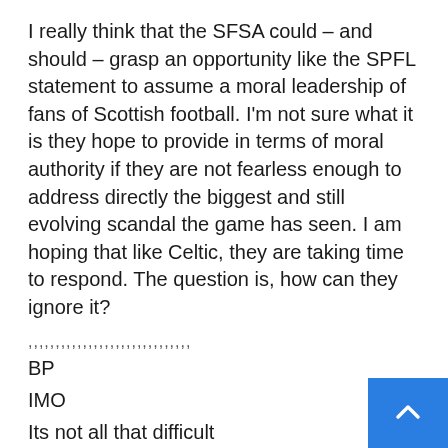I really think that the SFSA could – and should – grasp an opportunity like the SPFL statement to assume a moral leadership of fans of Scottish football. I'm not sure what it is they hope to provide in terms of moral authority if they are not fearless enough to address directly the biggest and still evolving scandal the game has seen. I am hoping that like Celtic, they are taking time to respond. The question is, how can they ignore it?
,,,,,,,,,,,,,,,,,,,,,,,,,,,,,,
BP
IMO
Its not all that difficult
.At their next  Board meeting the current SFSA Board should vote on whether they are prepared to make upholding sporting integrity the prime goal of their Mission Statement. All other goals will be subservient to this aim. Key Performance Indicators should then be developed to measure whether the governing bodies are uphol...